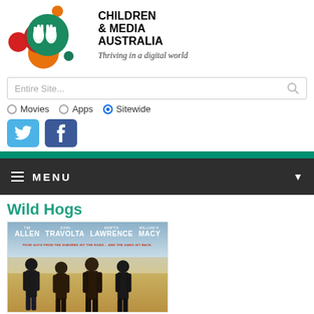[Figure (logo): Children & Media Australia logo with colorful overlapping circles and hands]
CHILDREN & MEDIA AUSTRALIA
Thriving in a digital world
Entire Site... [search box]
○ Movies  ○ Apps  ● Sitewide
[Figure (illustration): Twitter and Facebook social media icon buttons]
≡ MENU
Wild Hogs
[Figure (photo): Wild Hogs movie poster showing Tim Allen, John Travolta, Martin Lawrence, William H. Macy]